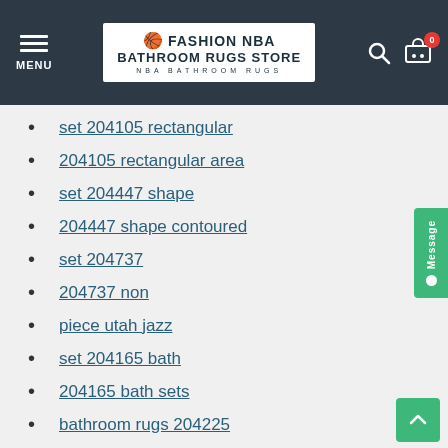FASHION NBA BATHROOM RUGS STORE — NBA BATHROOM RUGS
set 204105 rectangular
204105 rectangular area
set 204447 shape
204447 shape contoured
set 204737
204737 non
piece utah jazz
set 204165 bath
204165 bath sets
bathroom rugs 204225
rugs 204225 extra
204225 extra soft
bathroom rugs 203887
rugs 203887 extra
203887 extra soft
set 203940
set 204133 pads